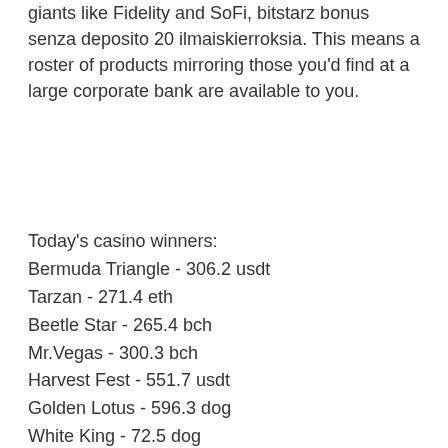giants like Fidelity and SoFi, bitstarz bonus senza deposito 20 ilmaiskierroksia. This means a roster of products mirroring those you'd find at a large corporate bank are available to you.
Today's casino winners:
Bermuda Triangle - 306.2 usdt
Tarzan - 271.4 eth
Beetle Star - 265.4 bch
Mr.Vegas - 300.3 bch
Harvest Fest - 551.7 usdt
Golden Lotus - 596.3 dog
White King - 72.5 dog
Dino Reels 81 - 558.3 ltc
Benchwarmer Football Girls - 409.6 usdt
WhoSpunIt - 482.5 btc
True Illusions - 40.5 usdt
Highway Stars - 638.3 eth
Tootin Car Man - 199.5 dog
Basketball Star - 164 ltc
Mr.Toxicus - 443.5 bch